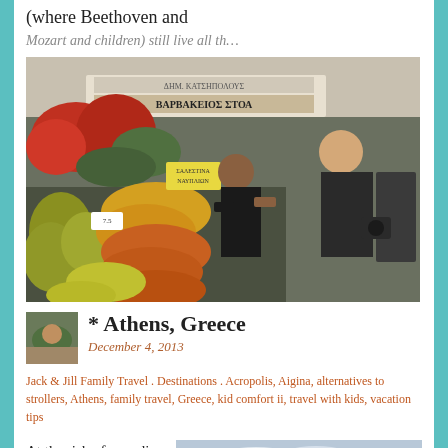(where Beethoven and
[Figure (photo): Two men posing and smiling in front of a Greek market stall (ΒΑΡΒΑΚΕΙΟΣ ΣΤΟΑ) with colorful fruits including bananas, oranges, and red peppers displayed.]
* Athens, Greece
December 4, 2013
Jack & Jill Family Travel . Destinations . Acropolis, Aigina, alternatives to strollers, Athens, family travel, Greece, kid comfort ii, travel with kids, vacation tips
At the risk of sounding extremely over-privileged, I
[Figure (photo): Outdoor photo of a harbor or waterfront area with a partly cloudy sky, buildings and boats visible in the background.]